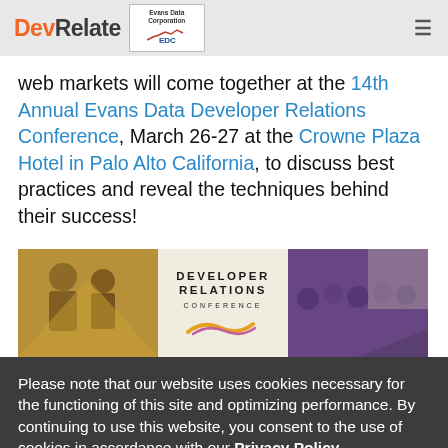DevRelate | Evans Data Corporation EDC
web markets will come together at the 14th Annual Evans Data Developer Relations Conference, March 26-27 at the Crowne Plaza Hotel in Palo Alto California, to discuss best practices and reveal the techniques behind their success!
[Figure (photo): Developer Relations Conference banner image with people at conference on sides and 'Developer Relations Conference' text in center with orange and purple design elements]
Please note that our website uses cookies necessary for the functioning of this site and optimizing performance. By continuing to use this website, you consent to the use of cookies in accordance with our Privacy Policy.
ACCEPT